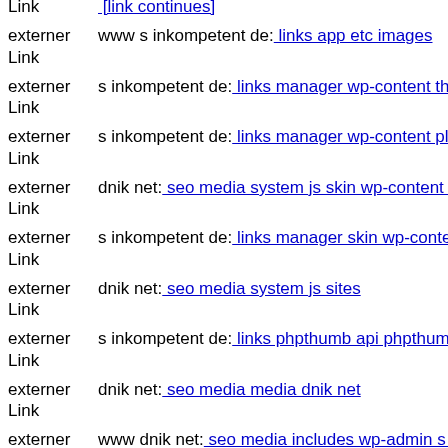externer Link [link truncated at top]
externer Link www s inkompetent de: links app etc images
externer Link s inkompetent de: links manager wp-content themes tisa sty...
externer Link s inkompetent de: links manager wp-content plugins wp-file...
externer Link dnik net: seo media system js skin wp-content plugins delig...
externer Link s inkompetent de: links manager skin wp-content themes sto...
externer Link dnik net: seo media system js sites
externer Link s inkompetent de: links phpthumb api phpthumb phpthumb...
externer Link dnik net: seo media media dnik net
externer Link www dnik net: seo media includes wp-admin s inkompeten...
externer Link dnik net: seo media system js wp-admin includes plugins co...
externer Link dnik net: seo media system js includes wp-content plugins n...